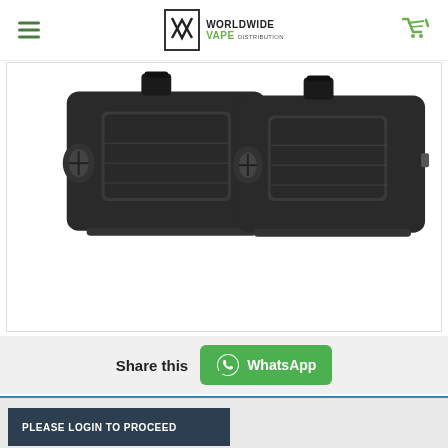Worldwide Vape Distribution
[Figure (photo): Two dark-colored vape pod cartridges shown side by side on a white background]
Share this
WhatsApp
PLEASE LOGIN TO PROCEED